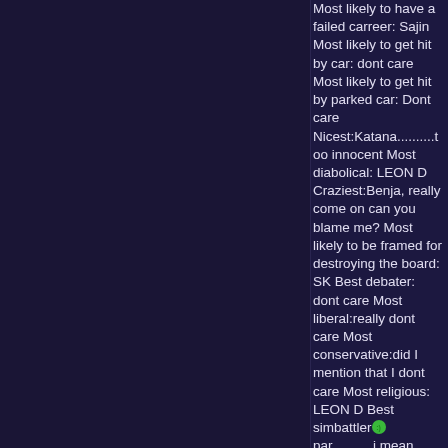Most likely to have a failed carreer: Sajin
Most likely to get hit by car: dont care
Most likely to get hit by parked car: Dont care
Nicest:Katana..........too innocent
Most diabolical: LEON D
Craziest:Benja, really come on can you blame me?
Most likely to be framed for destroying the board: SK
Best debater: dont care
Most liberal:really dont care
Most conservative:did I mention that I dont care
Most religious: LEON D
Best simbattler:) par...........i mean benja
Worst simbattler:At least they try jesus
Best roleplayer:The vampire manhandler, kaijin
Most caring:Katana..........she...